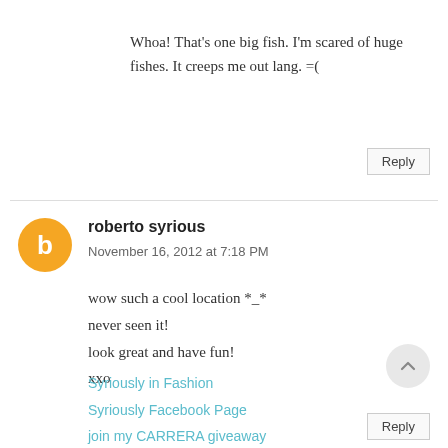Whoa! That's one big fish. I'm scared of huge fishes. It creeps me out lang. =(
Reply
roberto syrious
November 16, 2012 at 7:18 PM
wow such a cool location *_*
never seen it!
look great and have fun!
xxo
Syriously in Fashion
Syriously Facebook Page
join my CARRERA giveaway
Reply